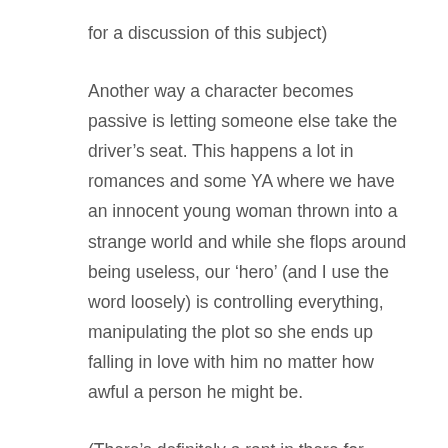for a discussion of this subject)
Another way a character becomes passive is letting someone else take the driver’s seat. This happens a lot in romances and some YA where we have an innocent young woman thrown into a strange world and while she flops around being useless, our ‘hero’ (and I use the word loosely) is controlling everything, manipulating the plot so she ends up falling in love with him no matter how awful a person he might be.
(There’s definitely a rant in there for another